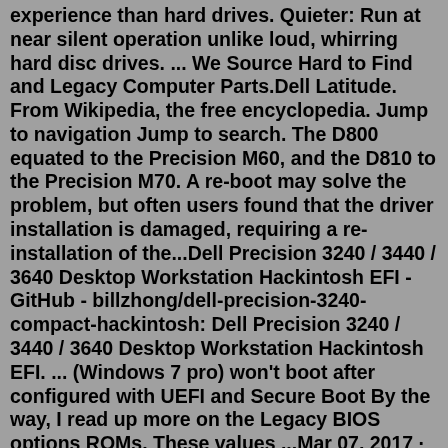experience than hard drives. Quieter: Run at near silent operation unlike loud, whirring hard disc drives. ... We Source Hard to Find and Legacy Computer Parts.Dell Latitude. From Wikipedia, the free encyclopedia. Jump to navigation Jump to search. The D800 equated to the Precision M60, and the D810 to the Precision M70. A re-boot may solve the problem, but often users found that the driver installation is damaged, requiring a re-installation of the...Dell Precision 3240 / 3440 / 3640 Desktop Workstation Hackintosh EFI - GitHub - billzhong/dell-precision-3240-compact-hackintosh: Dell Precision 3240 / 3440 / 3640 Desktop Workstation Hackintosh EFI. ... (Windows 7 pro) won't boot after configured with UEFI and Secure Boot By the way, I read up more on the Legacy BIOS options ROMs. These values ...Mar 07, 2017 · Accessing BIOS in older Dell Models. Step 1. Reboot or turn the Dell PC on. Step 2. On the initial boot screen when Dell logo is seen, press 'Del' key or 'Ctrl + Alt + Enter' key